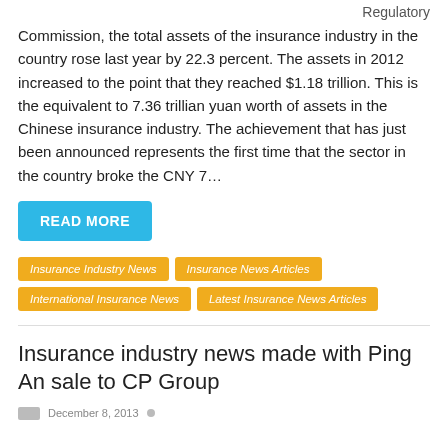Regulatory
Commission, the total assets of the insurance industry in the country rose last year by 22.3 percent. The assets in 2012 increased to the point that they reached $1.18 trillion. This is the equivalent to 7.36 trillian yuan worth of assets in the Chinese insurance industry. The achievement that has just been announced represents the first time that the sector in the country broke the CNY 7…
READ MORE
Insurance Industry News
Insurance News Articles
International Insurance News
Latest Insurance News Articles
Insurance industry news made with Ping An sale to CP Group
December 8, 2013